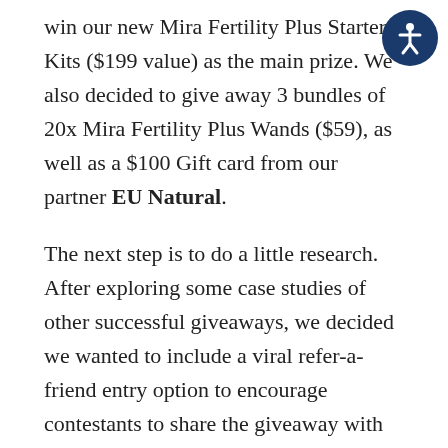win our new Mira Fertility Plus Starter Kits ($199 value) as the main prize. We also decided to give away 3 bundles of 20x Mira Fertility Plus Wands ($59), as well as a $100 Gift card from our partner EU Natural.
The next step is to do a little research. After exploring some case studies of other successful giveaways, we decided we wanted to include a viral refer-a-friend entry option to encourage contestants to share the giveaway with their friends in the hopes it would boost traffic (spoiler: it did).
Choosing the right tools
Next you will need to choose the tools you will...